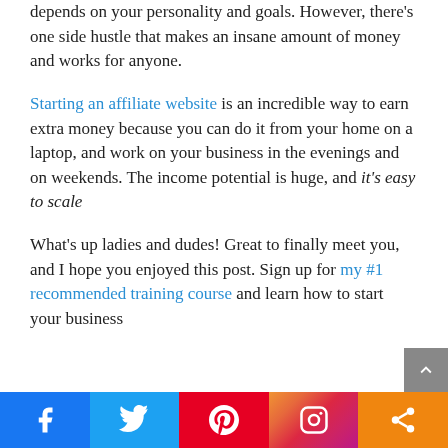depends on your personality and goals. However, there's one side hustle that makes an insane amount of money and works for anyone.
Starting an affiliate website is an incredible way to earn extra money because you can do it from your home on a laptop, and work on your business in the evenings and on weekends. The income potential is huge, and it's easy to scale
What's up ladies and dudes! Great to finally meet you, and I hope you enjoyed this post. Sign up for my #1 recommended training course and learn how to start your business
[Figure (infographic): Social sharing bar with Facebook, Twitter, Pinterest, Instagram, and share buttons]